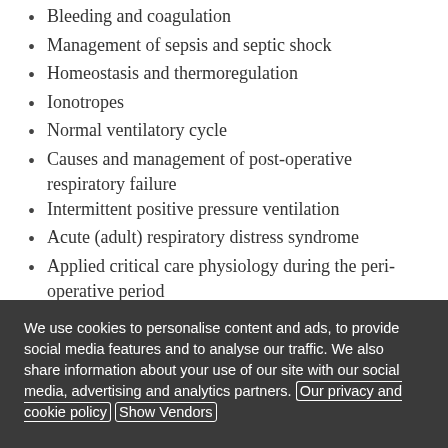Bleeding and coagulation
Management of sepsis and septic shock
Homeostasis and thermoregulation
Ionotropes
Normal ventilatory cycle
Causes and management of post-operative respiratory failure
Intermittent positive pressure ventilation
Acute (adult) respiratory distress syndrome
Applied critical care physiology during the peri-operative period
Thyroid hormones, hypothyroidism and hyperthyroidism
Parathyroid hormones, their disorders and calcium metabolism
Function of the pituitary and adrenal glands
We use cookies to personalise content and ads, to provide social media features and to analyse our traffic. We also share information about your use of our site with our social media, advertising and analytics partners. Our privacy and cookie policy Show Vendors